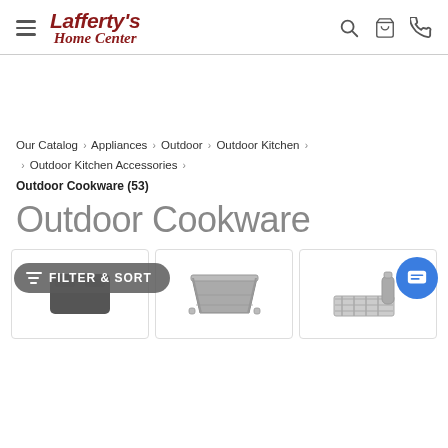Lafferty's Home Center
Our Catalog › Appliances › Outdoor › Outdoor Kitchen › Outdoor Kitchen Accessories ›
Outdoor Cookware (53)
Outdoor Cookware
[Figure (photo): Three product images of outdoor cookware items in a product listing grid]
FILTER & SORT